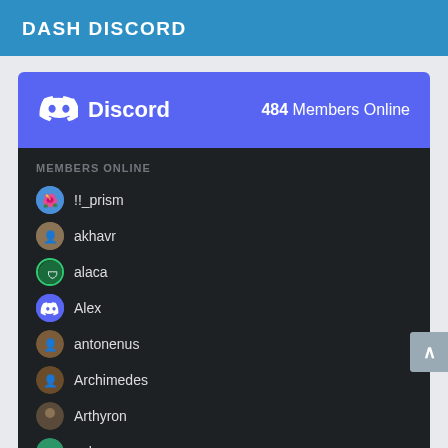DASH DISCORD
[Figure (screenshot): Discord widget showing 484 Members Online with a list of members including !!_prism, akhavr, alaca, Alex, antonenus, Archimedes, Arthyron, ashu, beast911, BlizzardDen70, Bogart, and more (cut off)]
!!_prism
akhavr
alaca
Alex
antonenus
Archimedes
Arthyron
ashu
beast911
BlizzardDen70
Bogart